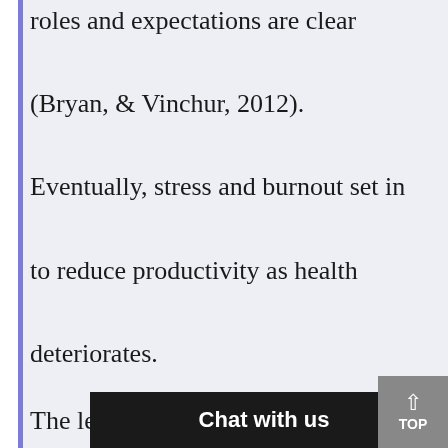roles and expectations are clear (Bryan, & Vinchur, 2012). Eventually, stress and burnout set in to reduce productivity as health deteriorates.
The leadership should set reasonable expectations and support the employees to accomplish them. Employees feel the pressure when the expectations are too high and unrealistic in given conditions. The leaders should ensure that set expect...